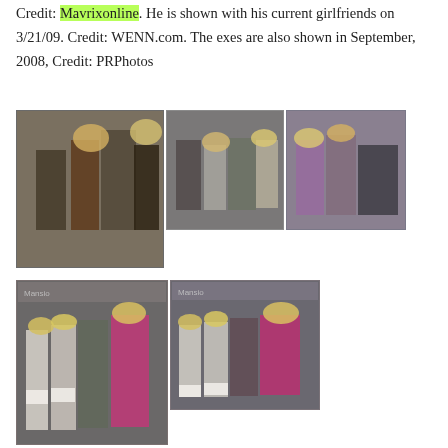Credit: Mavrixonline. He is shown with his current girlfriends on 3/21/09. Credit: WENN.com. The exes are also shown in September, 2008, Credit: PRPhotos
[Figure (photo): Collage of three photos showing a man with several blonde women at events]
[Figure (photo): Two photos side by side showing a man posing with blonde women on a red carpet with event backdrop signage]